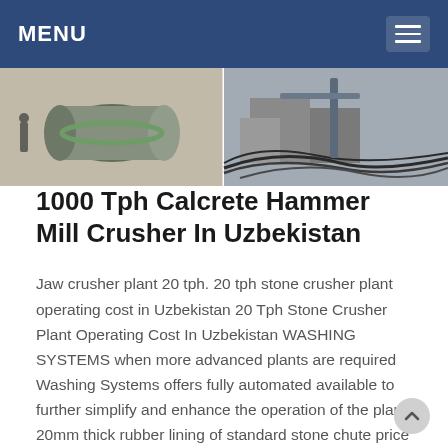MENU
[Figure (photo): Two side-by-side industrial photos: left shows a large cylindrical drum/mill machine with workers in a dusty environment; right shows construction equipment and cables at a building site.]
1000 Tph Calcrete Hammer Mill Crusher In Uzbekistan
Jaw crusher plant 20 tph. 20 tph stone crusher plant operating cost in Uzbekistan 20 Tph Stone Crusher Plant Operating Cost In Uzbekistan WASHING SYSTEMS when more advanced plants are required Washing Systems offers fully automated available to further simplify and enhance the operation of the plant 20mm thick rubber lining of standard stone chute price per deck Crusher